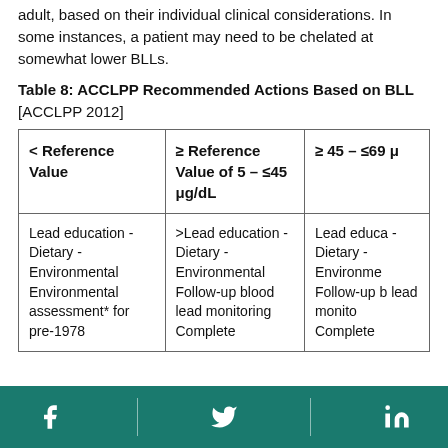adult, based on their individual clinical considerations. In some instances, a patient may need to be chelated at somewhat lower BLLs.
Table 8: ACCLPP Recommended Actions Based on BLL [ACCLPP 2012]
| < Reference Value | ≥ Reference Value of 5 – ≤45 μg/dL | ≥ 45 – ≤69 μg/dL |
| --- | --- | --- |
| Lead education -Dietary -Environmental Environmental assessment* for pre-1978... | >Lead education -Dietary -Environmental Follow-up blood lead monitoring Complete... | Lead education -Dietary -Environmental Follow-up blood lead monitoring Complete... |
Facebook | Twitter | LinkedIn